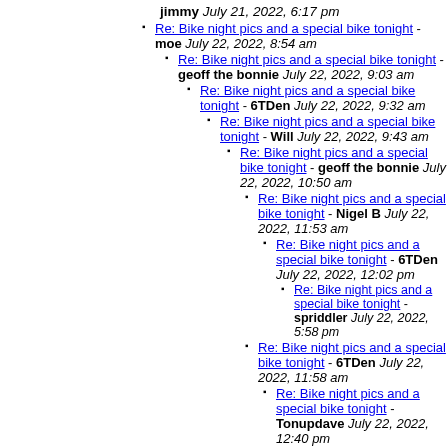jimmy July 21, 2022, 6:17 pm
Re: Bike night pics and a special bike tonight - moe July 22, 2022, 8:54 am
Re: Bike night pics and a special bike tonight - geoff the bonnie July 22, 2022, 9:03 am
Re: Bike night pics and a special bike tonight - 6TDen July 22, 2022, 9:32 am
Re: Bike night pics and a special bike tonight - Will July 22, 2022, 9:43 am
Re: Bike night pics and a special bike tonight - geoff the bonnie July 22, 2022, 10:50 am
Re: Bike night pics and a special bike tonight - Nigel B July 22, 2022, 11:53 am
Re: Bike night pics and a special bike tonight - 6TDen July 22, 2022, 12:02 pm
Re: Bike night pics and a special bike tonight - spriddler July 22, 2022, 5:58 pm
Re: Bike night pics and a special bike tonight - 6TDen July 22, 2022, 11:58 am
Re: Bike night pics and a special bike tonight - Tonupdave July 22, 2022, 12:40 pm
View thread »
[Figure (other): Small image thumbnail at bottom left]